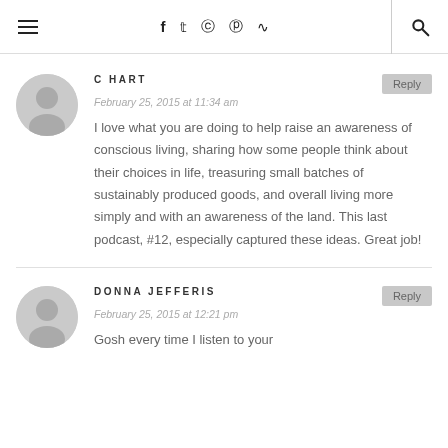≡  f  𝕥  📷  𝕡  ⌁  🔍
C HART
February 25, 2015 at 11:34 am
I love what you are doing to help raise an awareness of conscious living, sharing how some people think about their choices in life, treasuring small batches of sustainably produced goods, and overall living more simply and with an awareness of the land. This last podcast, #12, especially captured these ideas. Great job!
DONNA JEFFERIS
February 25, 2015 at 12:21 pm
Gosh every time I listen to your